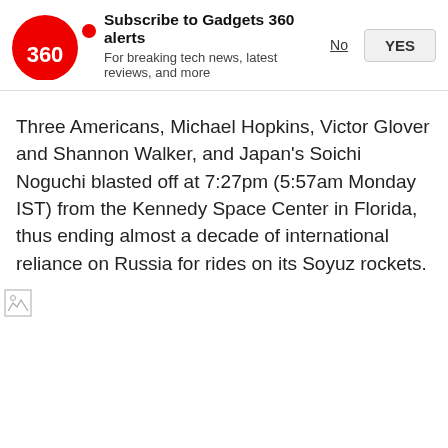[Figure (logo): Gadgets 360 red circle logo with '360' text inside]
Subscribe to Gadgets 360 alerts
For breaking tech news, latest reviews, and more
No   YES
Three Americans, Michael Hopkins, Victor Glover and Shannon Walker, and Japan's Soichi Noguchi blasted off at 7:27pm (5:57am Monday IST) from the Kennedy Space Center in Florida, thus ending almost a decade of international reliance on Russia for rides on its Soyuz rockets.
[Figure (photo): Broken/loading image placeholder (small icon, bottom left)]